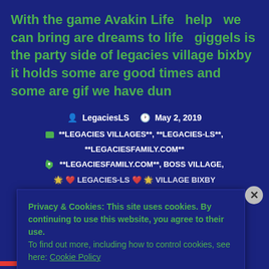With the game Avakin Life  help  we can bring are dreams to life  giggels is the party side of legacies village bixby it holds some are good times and some are gif we have dun
LegaciesLS   May 2, 2019   **LEGACIES VILLAGES**, **LEGACIES-LS**, **LEGACIESFAMILY.COM**   **LEGACIESFAMILY.COM**, BOSS VILLAGE,
Privacy & Cookies: This site uses cookies. By continuing to use this website, you agree to their use.
To find out more, including how to control cookies, see here: Cookie Policy
Close and accept